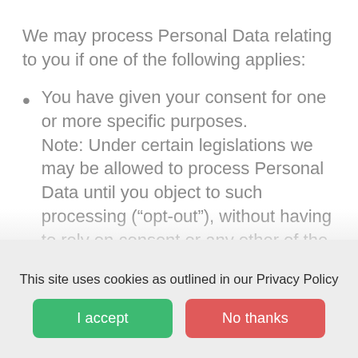We may process Personal Data relating to you if one of the following applies:
You have given your consent for one or more specific purposes. Note: Under certain legislations we may be allowed to process Personal Data until you object to such processing (“opt-out”), without having to rely on consent or any other of the following legal...
This site uses cookies as outlined in our Privacy Policy